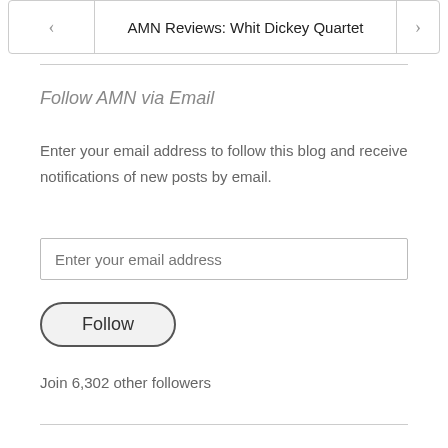AMN Reviews: Whit Dickey Quartet
Follow AMN via Email
Enter your email address to follow this blog and receive notifications of new posts by email.
Enter your email address
Follow
Join 6,302 other followers